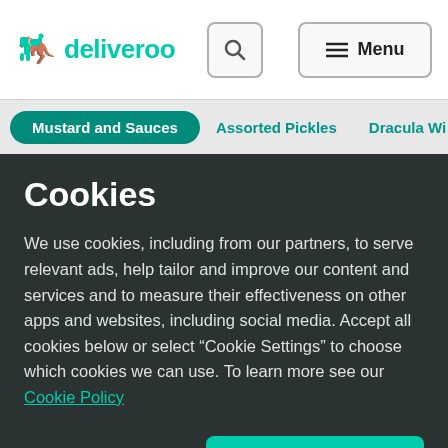deliveroo
Mustard and Sauces
Assorted Pickles
Dracula Wi
Cookies
We use cookies, including from our partners, to serve relevant ads, help tailor and improve our content and services and to measure their effectiveness on other apps and websites, including social media. Accept all cookies below or select “Cookie Settings” to choose which cookies we can use. To learn more see our Cookie Policy
Cookie Settings
Accept All Cookies